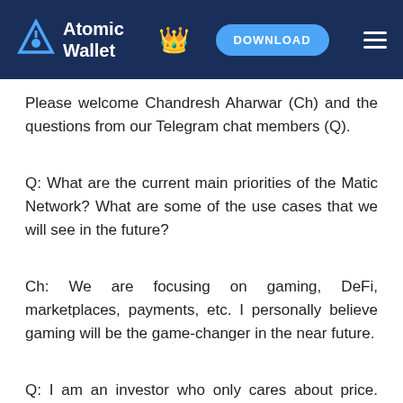Atomic Wallet | DOWNLOAD
Please welcome Chandresh Aharwar (Ch) and the questions from our Telegram chat members (Q).
Q: What are the current main priorities of the Matic Network? What are some of the use cases that we will see in the future?
Ch: We are focusing on gaming, DeFi, marketplaces, payments, etc. I personally believe gaming will be the game-changer in the near future.
Q: I am an investor who only cares about price. How will